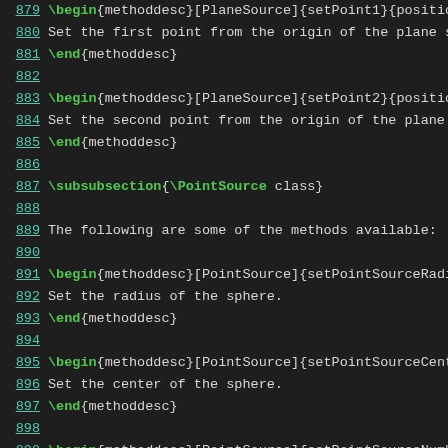879  \begin{methoddesc}[PlaneSource]{setPoint1}{positio
880  Set the first point from the origin of the plane s
881  \end{methoddesc}
882
883  \begin{methoddesc}[PlaneSource]{setPoint2}{positio
884  Set the second point from the origin of the plane
885  \end{methoddesc}
886
887  \subsubsection{\PointSource class}
888
889  The following are some of the methods available:
890
891  \begin{methoddesc}[PointSource]{setPointSourceRadi
892  Set the radius of the sphere.
893  \end{methoddesc}
894
895  \begin{methoddesc}[PointSource]{setPointSourceCent
896  Set the center of the sphere.
897  \end{methoddesc}
898
899  \begin{methoddesc}[PointSource]{setPointSourceNumb
900  Set the number of points to generate within the sp
901  number of points, the more streamlines are generat